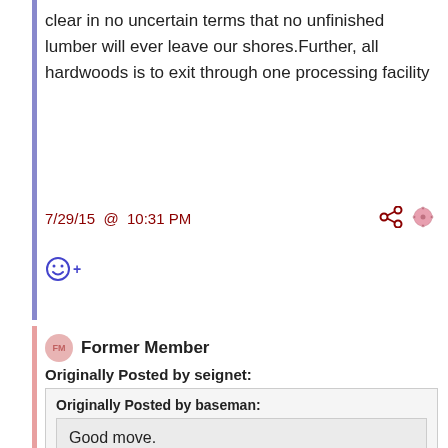clear in no uncertain terms that no unfinished lumber will ever leave our shores.Further, all hardwoods is to exit through one processing facility
7/29/15 @ 10:31 PM
Former Member
Originally Posted by seignet:
Originally Posted by baseman:
Good move.
It takes more than 4 months to set up a wood processing plant. They made Trotman a fool.